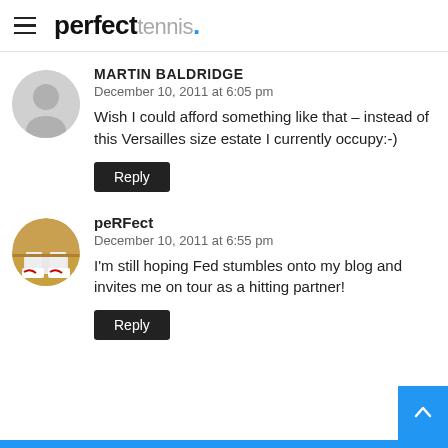perfect tennis.
MARTIN BALDRIDGE
December 10, 2011 at 6:05 pm
Wish I could afford something like that – instead of this Versailles size estate I currently occupy:-)
Reply
peRFect
December 10, 2011 at 6:55 pm
I'm still hoping Fed stumbles onto my blog and invites me on tour as a hitting partner!
Reply